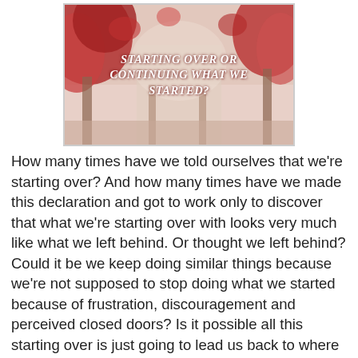[Figure (photo): Autumn scene with red-leafed trees and a pathway, overlaid with italic white text reading: STARTING OVER OR CONTINUING WHAT WE STARTED?]
How many times have we told ourselves that we're starting over?  And how many times have we made this declaration and got to work only to discover that what we're starting over with looks very much like what we left behind.  Or thought we left behind?  Could it be we keep doing similar things because we're not supposed to stop doing what we started because of frustration, discouragement and perceived closed doors?  Is it possible all this starting over is just going to lead us back to where we were?
I'm starting a new blog with this first postings knowing full well it's a continuation of what I was doing earlier but stopped because unseen forces